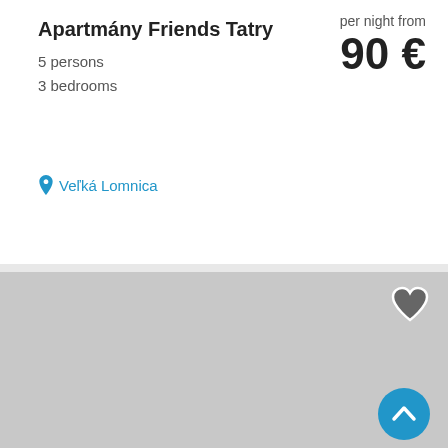Apartmány Friends Tatry
5 persons
3 bedrooms
per night from
90 €
Veľká Lomnica
[Figure (photo): Gray placeholder image for a rental property listing with a heart/favorite icon in the top right corner and a blue scroll-to-top button in the bottom right corner]
Villa Family Lienka
15 persons
per night from
350 €